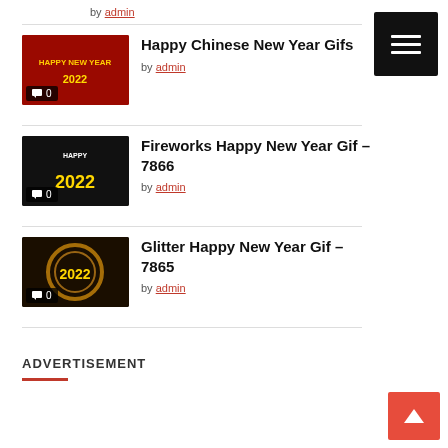by admin
Happy Chinese New Year Gifs
by admin
Fireworks Happy New Year Gif – 7866
by admin
Glitter Happy New Year Gif – 7865
by admin
ADVERTISEMENT